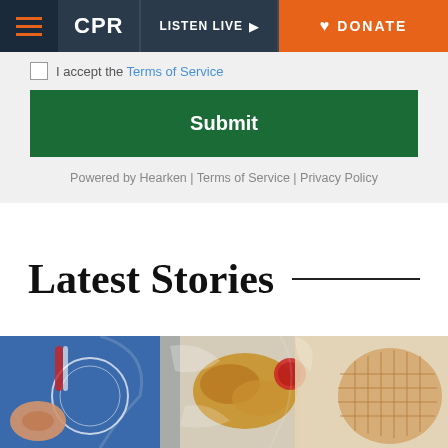CPR | LISTEN LIVE | DONATE
I accept the Terms of Service
Submit
Powered by Hearken | Terms of Service | Privacy Policy
Latest Stories
[Figure (photo): Close-up photo of packaged baked goods including what appears to be a croissant in plastic wrap and other wrapped food items on a blue background with circular logos or labels visible]